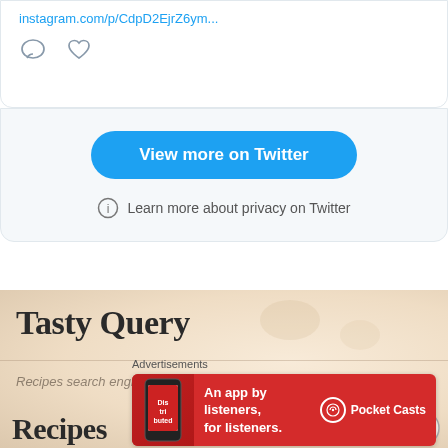[Figure (screenshot): Twitter/X embedded card showing a link to instagram.com, with comment and like icons, a blue 'View more on Twitter' button, and a privacy notice.]
instagram.com/p/...
View more on Twitter
Learn more about privacy on Twitter
Tasty Query
Recipes search engine ...
Recipes
[Figure (screenshot): Advertisement banner: 'An app by listeners, for listeners.' with Pocket Casts branding on red background.]